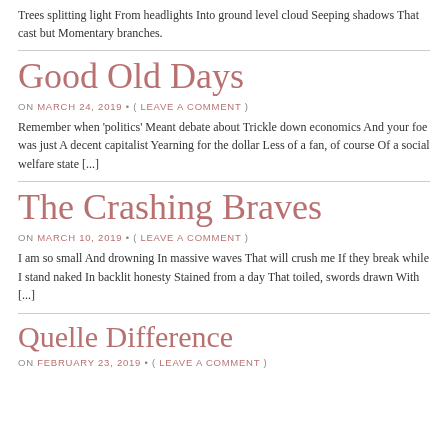Trees splitting light From headlights Into ground level cloud Seeping shadows That cast but Momentary branches.
Good Old Days
ON MARCH 24, 2019 • ( LEAVE A COMMENT )
Remember when 'politics' Meant debate about Trickle down economics And your foe was just A decent capitalist Yearning for the dollar Less of a fan, of course Of a social welfare state [...]
The Crashing Braves
ON MARCH 10, 2019 • ( LEAVE A COMMENT )
I am so small And drowning In massive waves That will crush me If they break while I stand naked In backlit honesty Stained from a day That toiled, swords drawn With [...]
Quelle Difference
ON FEBRUARY 23, 2019 • ( LEAVE A COMMENT )